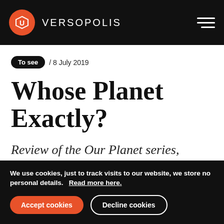VERSOPOLIS
To see / 8 July 2019
Whose Planet Exactly?
Review of the Our Planet series, Netflix, 2019
We use cookies, just to track visits to our website, we store no personal details.   Read more here.